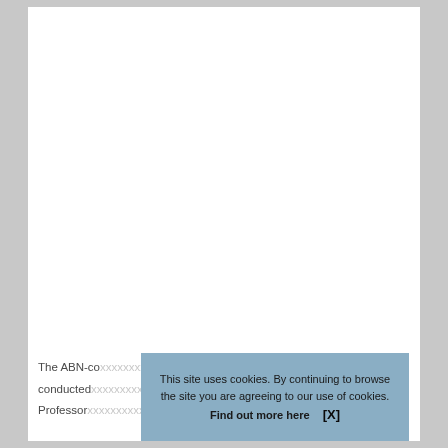The ABN-co conducted Professor
This site uses cookies. By continuing to browse the site you are agreeing to our use of cookies. Find out more here [X]